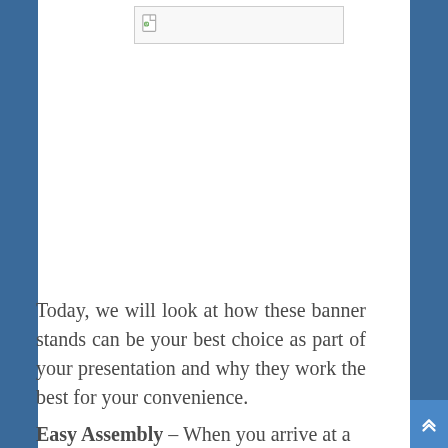[Figure (other): Broken/placeholder image icon with document icon in top area]
Today, we will look at how these banner stands can be your best choice as part of your presentation and why they work the best for your convenience.
Easy Assembly – When you arrive at a trad...